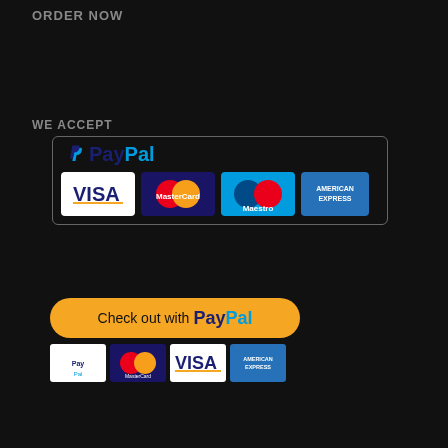ORDER NOW
WE ACCEPT
[Figure (logo): PayPal accepted payment methods panel showing PayPal logo with Visa, MasterCard, Maestro, and American Express card badges in a rounded rectangle border]
[Figure (logo): Check out with PayPal button (gold/yellow rounded rectangle) followed by small payment logos: PayPal, MasterCard, Visa, American Express]